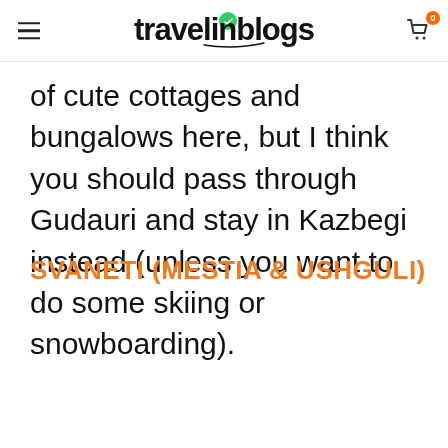travelinblogs
of cute cottages and bungalows here, but I think you should pass through Gudauri and stay in Kazbegi instead (unless you want to do some skiing or snowboarding).
SVANETI (MESTIA & USHGULI)